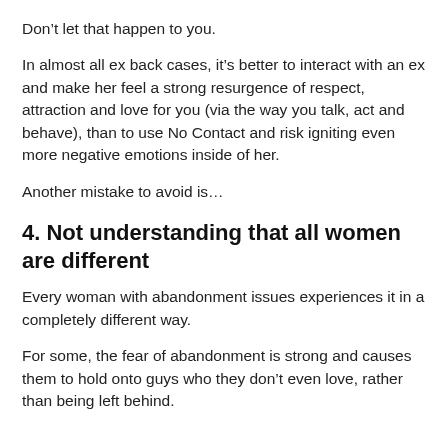Don’t let that happen to you.
In almost all ex back cases, it’s better to interact with an ex and make her feel a strong resurgence of respect, attraction and love for you (via the way you talk, act and behave), than to use No Contact and risk igniting even more negative emotions inside of her.
Another mistake to avoid is…
4. Not understanding that all women are different
Every woman with abandonment issues experiences it in a completely different way.
For some, the fear of abandonment is strong and causes them to hold onto guys who they don’t even love, rather than being left behind.